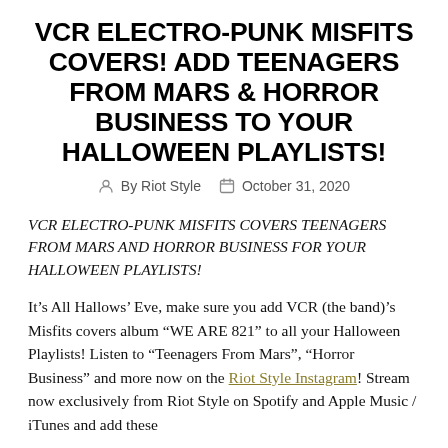VCR ELECTRO-PUNK MISFITS COVERS! ADD TEENAGERS FROM MARS & HORROR BUSINESS TO YOUR HALLOWEEN PLAYLISTS!
By Riot Style  October 31, 2020
VCR ELECTRO-PUNK MISFITS COVERS TEENAGERS FROM MARS AND HORROR BUSINESS FOR YOUR HALLOWEEN PLAYLISTS!
It’s All Hallows’ Eve, make sure you add VCR (the band)’s Misfits covers album “WE ARE 821” to all your Halloween Playlists! Listen to “Teenagers From Mars”, “Horror Business” and more now on the Riot Style Instagram! Stream now exclusively from Riot Style on Spotify and Apple Music / iTunes and add these